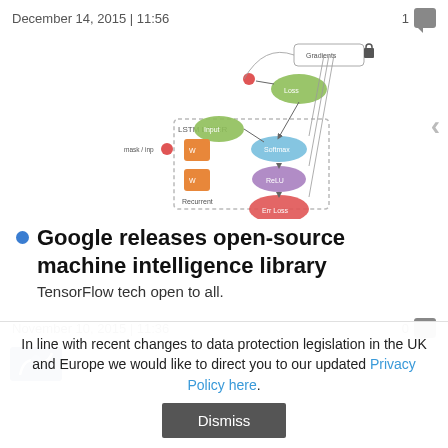December 14, 2015 | 11:56
[Figure (flowchart): TensorFlow computational graph diagram showing nodes including gradients, loss layer, softmax, relu layers and connections between them]
Google releases open-source machine intelligence library
TensorFlow tech open to all.
November 10, 2015 | 11:36
[Figure (screenshot): Partial screenshot of a website article with a blue logo/image thumbnail]
In line with recent changes to data protection legislation in the UK and Europe we would like to direct you to our updated Privacy Policy here.